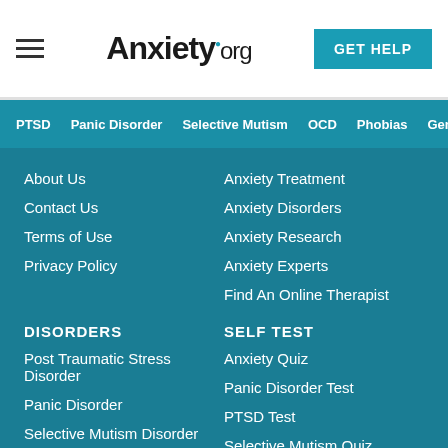Anxiety.org
PTSD | Panic Disorder | Selective Mutism | OCD | Phobias | Generalize
About Us
Anxiety Treatment
Contact Us
Anxiety Disorders
Terms of Use
Anxiety Research
Privacy Policy
Anxiety Experts
Find An Online Therapist
DISORDERS
SELF TEST
Post Traumatic Stress Disorder
Anxiety Quiz
Panic Disorder
Panic Disorder Test
Selective Mutism Disorder
PTSD Test
Obsessive Compulsive Disorder
Selective Mutism Quiz
Specific Phobias